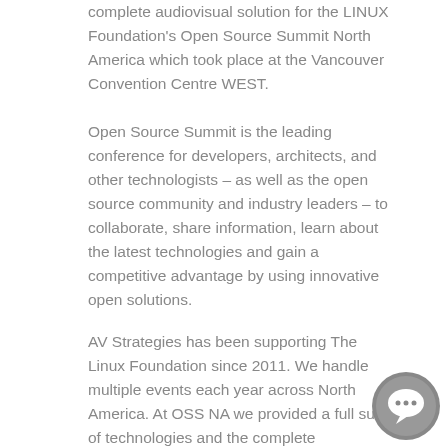complete audiovisual solution for the LINUX Foundation's Open Source Summit North America which took place at the Vancouver Convention Centre WEST.
Open Source Summit is the leading conference for developers, architects, and other technologists – as well as the open source community and industry leaders – to collaborate, share information, learn about the latest technologies and gain a competitive advantage by using innovative open solutions.
AV Strategies has been supporting The Linux Foundation since 2011. We handle multiple events each year across North America. At OSS NA we provided a full suite of technologies and the complete audiovisual package for the keynote room
[Figure (illustration): A circular chat/messaging icon with a speech bubble symbol, gray background]